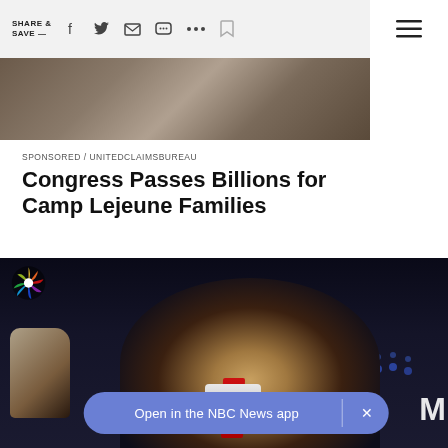SHARE & SAVE —
[Figure (photo): Partial top photo of outdoor scene, aerial or landscape view]
SPONSORED / UNITEDCLAIMSBUREAU
Congress Passes Billions for Camp Lejeune Families
[Figure (photo): NBC News photo of Donald Trump at a rally, waving hand, wearing red tie, dark background. NBC peacock logo visible top left. 'Open in the NBC News app' banner overlay at bottom.]